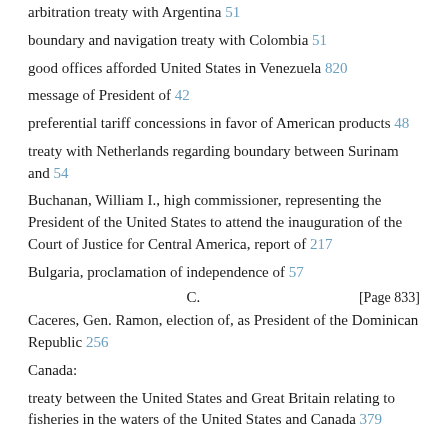arbitration treaty with Argentina 51
boundary and navigation treaty with Colombia 51
good offices afforded United States in Venezuela 820
message of President of 42
preferential tariff concessions in favor of American products 48
treaty with Netherlands regarding boundary between Surinam and 54
Buchanan, William I., high commissioner, representing the President of the United States to attend the inauguration of the Court of Justice for Central America, report of 217
Bulgaria, proclamation of independence of 57
C.
[Page 833]
Caceres, Gen. Ramon, election of, as President of the Dominican Republic 256
Canada:
treaty between the United States and Great Britain relating to fisheries in the waters of the United States and Canada 379